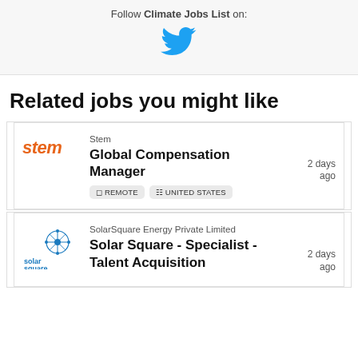Follow Climate Jobs List on:
[Figure (illustration): Twitter bird icon in blue]
Related jobs you might like
Stem
Global Compensation Manager
REMOTE  UNITED STATES
2 days ago
SolarSquare Energy Private Limited
Solar Square - Specialist - Talent Acquisition
2 days ago